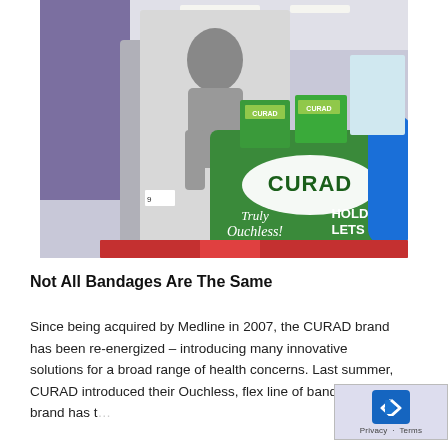[Figure (photo): Retail store aisle photo showing CURAD brand bandage display. Large green display box reads 'CURAD Truly Ouchless! HOLDS T... LETS GO...' with product boxes on top. A black-and-white cutout figure of a person is visible on the left side.]
Not All Bandages Are The Same
Since being acquired by Medline in 2007, the CURAD brand has been re-energized – introducing many innovative solutions for a broad range of health concerns. Last summer, CURAD introduced their Ouchless, flex line of bandages. The brand has t...